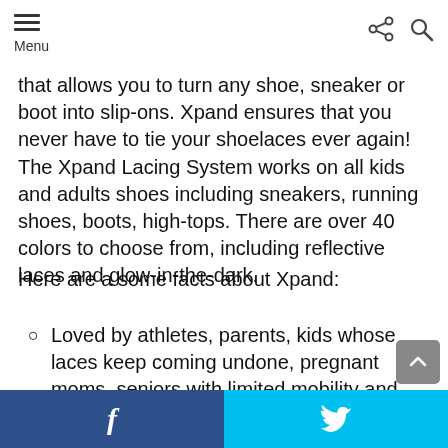Menu
that allows you to turn any shoe, sneaker or boot into slip-ons. Xpand ensures that you never have to tie your shoelaces ever again! The Xpand Lacing System works on all kids and adults shoes including sneakers, running shoes, boots, high-tops. There are over 40 colors to choose from, including reflective laces and glow-in-the-dark.
Here are a some facts about Xpand:
Loved by athletes, parents, kids whose laces keep coming undone, pregnant moms, seniors with limited mobility and everyone in between
f  [twitter bird]